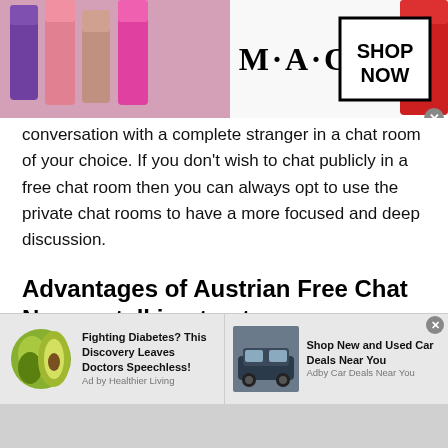[Figure (other): MAC cosmetics advertisement banner with lipsticks, MAC logo, and SHOP NOW button]
conversation with a complete stranger in a chat room of your choice. If you don't wish to chat publicly in a free chat room then you can always opt to use the private chat rooms to have a more focused and deep discussion.
Advantages of Austrian Free Chat Now on talking to strangers
You will be able to meet new friends and talk to new people.
You can voice your opinions about a variety of topics.
[Figure (other): Bottom advertisement: Fighting Diabetes? This Discovery Leaves Doctors Speechless! - Ad by Healthier Living, with avocado image]
[Figure (other): Bottom advertisement: Shop New and Used Car Deals Near You - Adby Car Deals Near You, with SUV image]